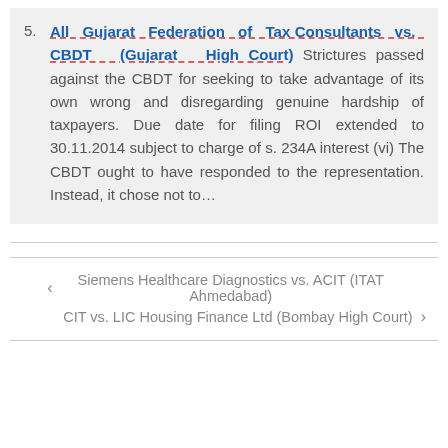5. All Gujarat Federation of Tax Consultants vs. CBDT (Gujarat High Court) Strictures passed against the CBDT for seeking to take advantage of its own wrong and disregarding genuine hardship of taxpayers. Due date for filing ROI extended to 30.11.2014 subject to charge of s. 234A interest (vi) The CBDT ought to have responded to the representation. Instead, it chose not to...
‹ Siemens Healthcare Diagnostics vs. ACIT (ITAT Ahmedabad)
CIT vs. LIC Housing Finance Ltd (Bombay High Court) ›